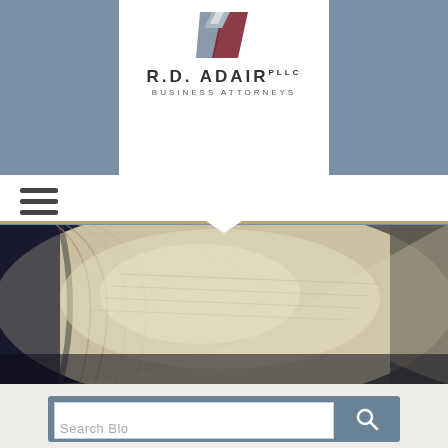[Figure (logo): R.D. Adair PLLC Business Attorneys logo with geometric diamond/chevron mark in grey and dark red, text reads R.D. ADAIR PLLC BUSINESS ATTORNEYS]
[Figure (photo): Close-up photograph of an open book with fanned pages, blurred background, warm beige/cream tones — legal reference book or law book]
[Figure (screenshot): Search box UI with blue-grey background, white input field, and search button with magnifying glass icon, partially showing 'Search Blo...' label]